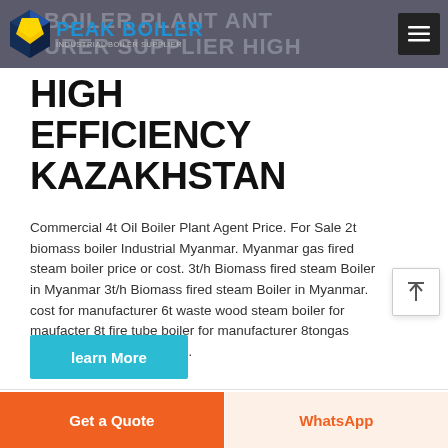PEAK BOILER — BOILER PLANT MANUFACTURER BOILER SUPPLIER HIGH EFFICIENCY KAZAKHSTAN
HIGH EFFICIENCY KAZAKHSTAN
Commercial 4t Oil Boiler Plant Agent Price. For Sale 2t biomass boiler Industrial Myanmar. Myanmar gas fired steam boiler price or cost. 3t/h Biomass fired steam Boiler in Myanmar 3t/h Biomass fired steam Boiler in Myanmar. cost for manufacturer 6t waste wood steam boiler for maufacter 8t fire tube boiler for manufacturer 8tongas steam boiler,condensing …
learn More
Get a Quote | WhatsApp